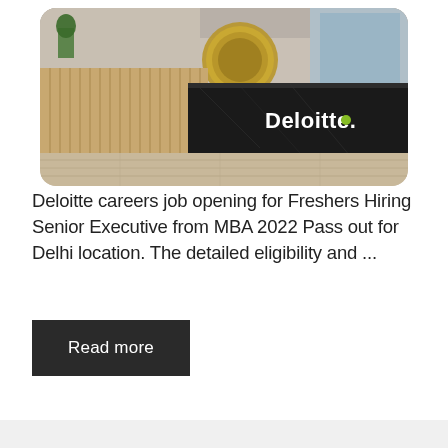[Figure (photo): Deloitte office reception area with wooden paneling, black marble desk showing the Deloitte logo in white with green dot, modern office interior with wood plank flooring]
Deloitte careers job opening for Freshers Hiring Senior Executive from MBA 2022 Pass out for Delhi location. The detailed eligibility and ...
Read more